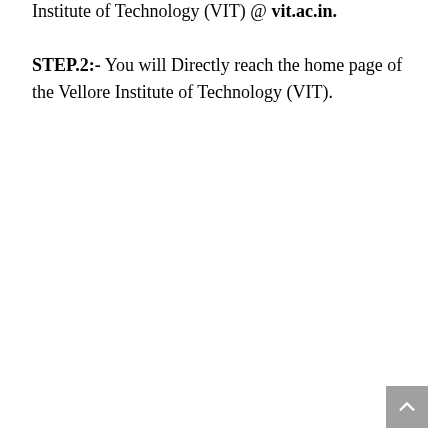Institute of Technology (VIT) @ vit.ac.in.
STEP.2:- You will Directly reach the home page of the Vellore Institute of Technology (VIT).